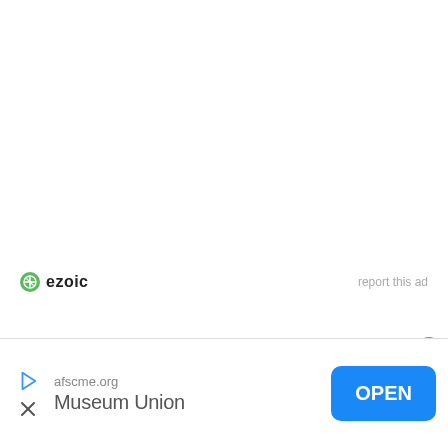[Figure (logo): Ezoic logo with green circular icon and 'ezoic' text in dark, plus 'report this ad' link on the right]
report this ad
Discover more
[Figure (screenshot): Mobile app advertisement banner at bottom: afscme.org Museum Union with OPEN button in blue, play/close icons on left, close circle button top-right of banner]